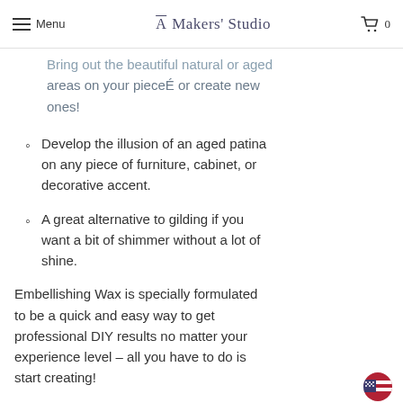Menu | Makers' Studio | 0
areas on your pieceÉ or create new ones!
Develop the illusion of an aged patina on any piece of furniture, cabinet, or decorative accent.
A great alternative to gilding if you want a bit of shimmer without a lot of shine.
Embellishing Wax is specially formulated to be a quick and easy way to get professional DIY results no matter your experience level – all you have to do is start creating!
Please note that after applying wax, your